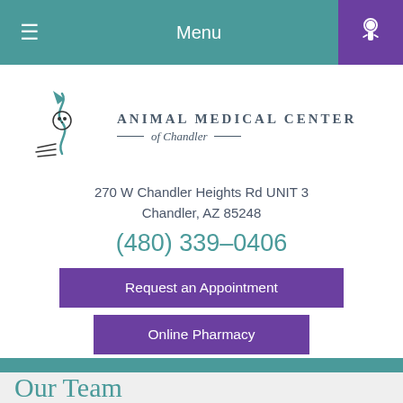Menu
[Figure (logo): Animal Medical Center of Chandler logo with cat silhouette illustration and text]
270 W Chandler Heights Rd UNIT 3
Chandler, AZ 85248
(480) 339-0406
Request an Appointment
Online Pharmacy
Our Team